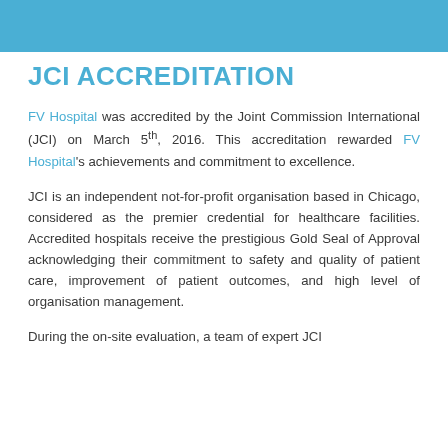JCI ACCREDITATION
FV Hospital was accredited by the Joint Commission International (JCI) on March 5th, 2016. This accreditation rewarded FV Hospital's achievements and commitment to excellence.
JCI is an independent not-for-profit organisation based in Chicago, considered as the premier credential for healthcare facilities. Accredited hospitals receive the prestigious Gold Seal of Approval acknowledging their commitment to safety and quality of patient care, improvement of patient outcomes, and high level of organisation management.
During the on-site evaluation, a team of expert JCI